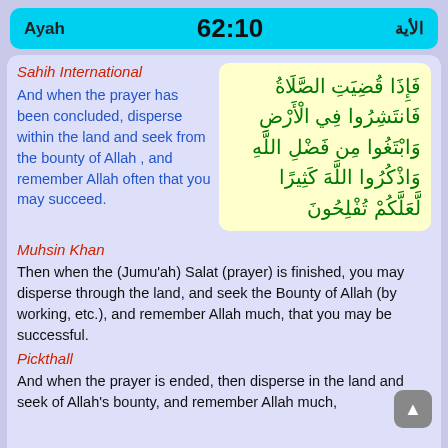Ayah  62:10  الأية
Sahih International
And when the prayer has been concluded, disperse within the land and seek from the bounty of Allah , and remember Allah often that you may succeed.
[Figure (other): Arabic Quranic text in green on yellow background: فَإِذَا قُضِيَتِ الصَّلَاةُ فَانتَشِرُوا فِي الْأَرْضِ وَابْتَغُوا مِن فَضْلِ اللَّهِ وَاذْكُرُوا اللَّهَ كَثِيرًا لَّعَلَّكُمْ تُفْلِحُونَ]
Muhsin Khan
Then when the (Jumu'ah) Salat (prayer) is finished, you may disperse through the land, and seek the Bounty of Allah (by working, etc.), and remember Allah much, that you may be successful.
Pickthall
And when the prayer is ended, then disperse in the land and seek of Allah's bounty, and remember Allah much,